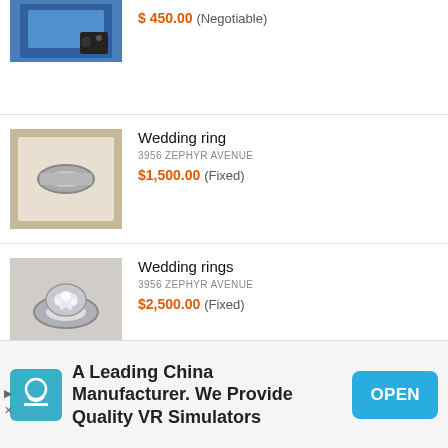[Figure (photo): Partial product listing image for a PlayStation 4 console box]
$450.00 (Negotiable)
[Figure (photo): Photo of a wedding ring in a box]
Wedding ring
3956 ZEPHYR AVENUE
$1,500.00 (Fixed)
[Figure (photo): Photo of wedding rings with diamonds]
Wedding rings
3956 ZEPHYR AVENUE
$2,500.00 (Fixed)
[Figure (photo): Photo of Apple iPhone 13 Pro phones in various colors]
Apple iPhone 13 Pro – 128...
DURHAM, NC, USA
A Leading China Manufacturer. We Provide Quality VR Simulators
OPEN
[Figure (photo): Partial photo of an Xbox console]
CLEVELAND, OH, USA